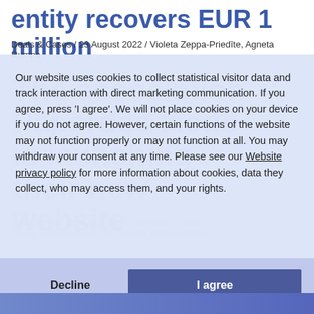entity recovers EUR 1 million
Deals & Cases / 23 August 2022 / Violeta Zeppa-Priedīte, Agneta Rumpa
The association Paperdes zieds is launching their new website
Deals & Cases / 30 August 2022 / Inese Āboliņa, Mārika Grunte, Jūlija Terjuhana, Jūlija Trišcuka, Krišjānis Knodze
Our website uses cookies to collect statistical visitor data and track interaction with direct marketing communication. If you agree, press 'I agree'. We will not place cookies on your device if you do not agree. However, certain functions of the website may not function properly or may not function at all. You may withdraw your consent at any time. Please see our Website privacy policy for more information about cookies, data they collect, who may access them, and your rights.